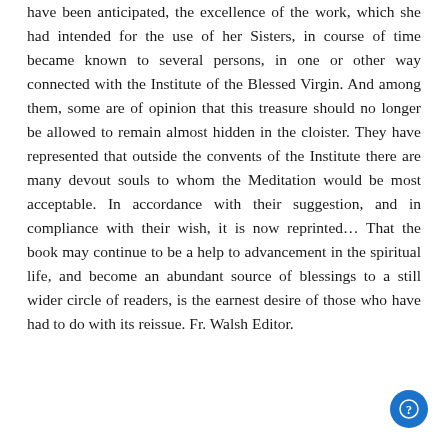have been anticipated, the excellence of the work, which she had intended for the use of her Sisters, in course of time became known to several persons, in one or other way connected with the Institute of the Blessed Virgin. And among them, some are of opinion that this treasure should no longer be allowed to remain almost hidden in the cloister. They have represented that outside the convents of the Institute there are many devout souls to whom the Meditation would be most acceptable. In accordance with their suggestion, and in compliance with their wish, it is now reprinted… That the book may continue to be a help to advancement in the spiritual life, and become an abundant source of blessings to a still wider circle of readers, is the earnest desire of those who have had to do with its reissue. Fr. Walsh Editor.